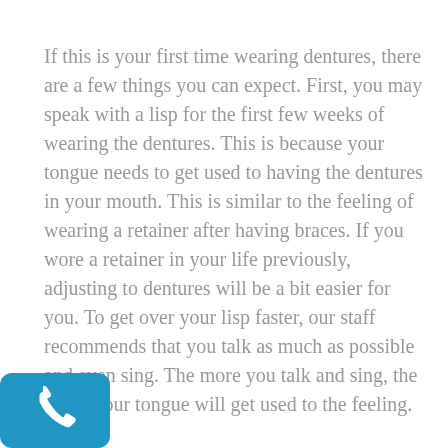If this is your first time wearing dentures, there are a few things you can expect. First, you may speak with a lisp for the first few weeks of wearing the dentures. This is because your tongue needs to get used to having the dentures in your mouth. This is similar to the feeling of wearing a retainer after having braces. If you wore a retainer in your life previously, adjusting to dentures will be a bit easier for you. To get over your lisp faster, our staff recommends that you talk as much as possible and even sing. The more you talk and sing, the faster your tongue will get used to the feeling.
Another thing you can expect with dentures is that biting and chewing will take a while to get used to. We recommend starting with soft and easy to chew foods and then working your way up to harder to eat foods like corn on the cob and steak. You will get used to the feeling in no time.
[Figure (illustration): Blue rounded square phone/call icon in bottom left corner]